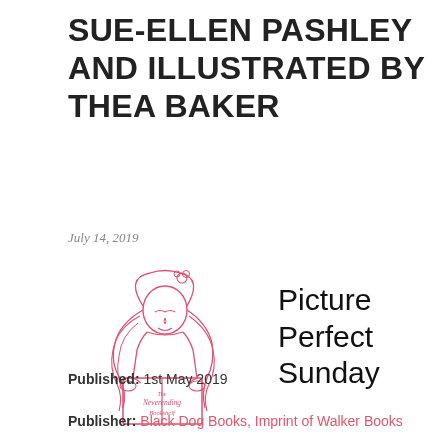SUE-ELLEN PASHLEY AND ILLUSTRATED BY THEA BAKER
July 14, 2019
[Figure (logo): The Neverending Bookshelf logo — illustrated girl with wavy hair reading a book, drawn in pink/red line art]
Picture Perfect Sunday
Published: 1st May 2019
Publisher: Black Dog Books, Imprint of Walker Books